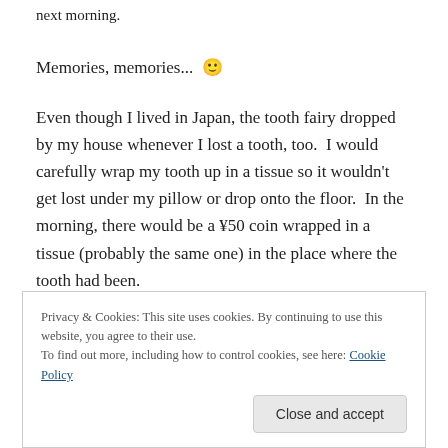next morning.
Memories, memories... 🙂
Even though I lived in Japan, the tooth fairy dropped by my house whenever I lost a tooth, too.  I would carefully wrap my tooth up in a tissue so it wouldn't get lost under my pillow or drop onto the floor.  In the morning, there would be a ¥50 coin wrapped in a tissue (probably the same one) in the place where the tooth had been.
For those of you who've never been to Japan, the ¥50 coin has a hole in it.  (Actually, there are two coins in
Privacy & Cookies: This site uses cookies. By continuing to use this website, you agree to their use.
To find out more, including how to control cookies, see here: Cookie Policy
Close and accept